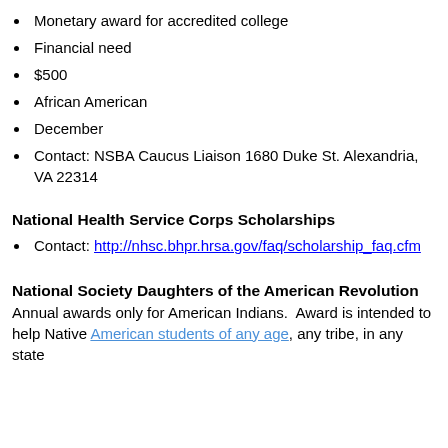Monetary award for accredited college
Financial need
$500
African American
December
Contact: NSBA Caucus Liaison 1680 Duke St. Alexandria, VA 22314
National Health Service Corps Scholarships
Contact: http://nhsc.bhpr.hrsa.gov/faq/scholarship_faq.cfm
National Society Daughters of the American Revolution
Annual awards only for American Indians.  Award is intended to help Native American students of any age, any tribe, in any state